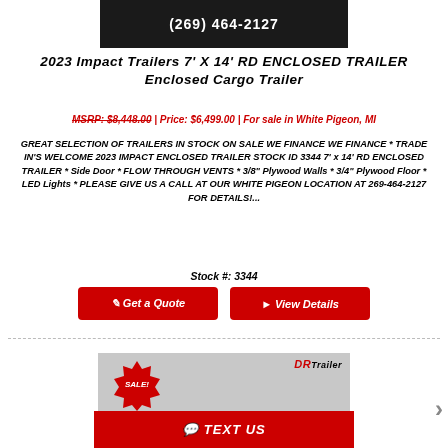[Figure (photo): Trailer dealership image with phone number (269) 464-2127]
2023 Impact Trailers 7' X 14' RD ENCLOSED TRAILER Enclosed Cargo Trailer
MSRP: $8,448.00 | Price: $6,499.00 | For sale in White Pigeon, MI
GREAT SELECTION OF TRAILERS IN STOCK ON SALE WE FINANCE WE FINANCE * TRADE IN'S WELCOME 2023 IMPACT ENCLOSED TRAILER STOCK ID 3344 7' x 14' RD ENCLOSED TRAILER * Side Door * FLOW THROUGH VENTS * 3/8" Plywood Walls * 3/4" Plywood Floor * LED Lights * PLEASE GIVE US A CALL AT OUR WHITE PIGEON LOCATION AT 269-464-2127 FOR DETAILS!...
Stock #: 3344
Get a Quote
View Details
[Figure (photo): DR Trailer enclosed cargo trailer with SALE badge]